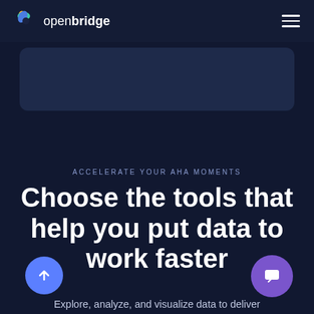openbridge
[Figure (screenshot): Dark navy card/panel area below the navigation bar]
ACCELERATE YOUR AHA MOMENTS
Choose the tools that help you put data to work faster
Explore, analyze, and visualize data to deliver